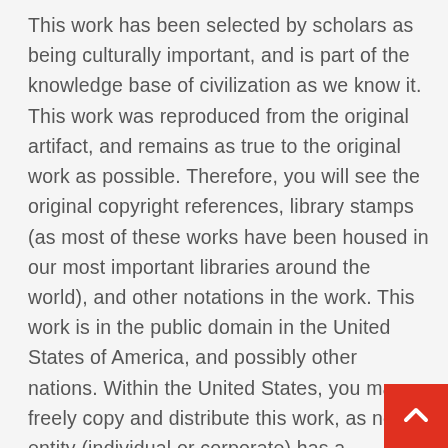This work has been selected by scholars as being culturally important, and is part of the knowledge base of civilization as we know it. This work was reproduced from the original artifact, and remains as true to the original work as possible. Therefore, you will see the original copyright references, library stamps (as most of these works have been housed in our most important libraries around the world), and other notations in the work. This work is in the public domain in the United States of America, and possibly other nations. Within the United States, you may freely copy and distribute this work, as no entity (individual or corporate) has a copyright on the body of the work. As a reproduction of a historical artifact, this work may contain missing or blurred pages, poor pictures, errant marks, etc. Scholars believe, and we concur, that this work is